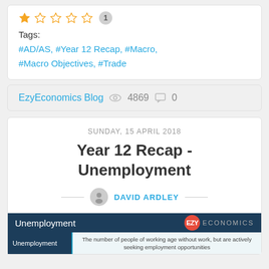★☆☆☆☆  1
Tags:
#AD/AS, #Year 12 Recap, #Macro, #Macro Objectives, #Trade
EzyEconomics Blog  👁 4869  💬 0
SUNDAY, 15 APRIL 2018
Year 12 Recap - Unemployment
DAVID ARDLEY
[Figure (infographic): Unemployment infographic header from EzyEconomics showing title bar and definition: 'The number of people of working age without work, but are actively seeking employment opportunities']